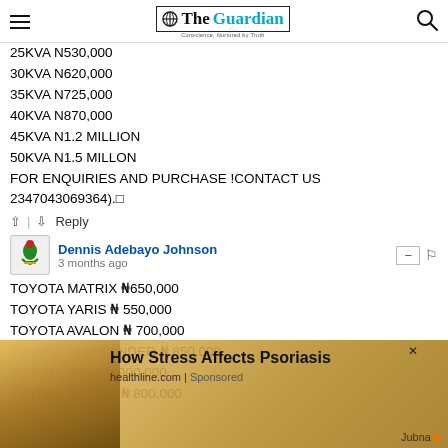The Guardian — Conscience, Nurtured by Truth
25KVA N530,000
30KVA N620,000
35KVA N725,000
40KVA N870,000
45KVA N1.2 MILLION
50KVA N1.5 MILLON
FOR ENQUIRIES AND PURCHASE !CONTACT US 2347043069364).🔲
↑ | ↓  Reply
Dennis Adebayo Johnson — 3 months ago
TOYOTA MATRIX ₦650,000
TOYOTA YARIS ₦ 550,000
TOYOTA AVALON ₦ 700,000
TOYOTA HIGHLANDER ₦ 850,000
TOYOTA RAV4 ₦ 900,000
TOYOTA SIENNA ₦ 800,000
TOYOTA PREVIA ₦ 650,000
[Figure (other): Advertisement overlay: 'How Stress Affects Psoriasis' from healthline.com with a food/nature image background. Jubna ad network branding at bottom right.]